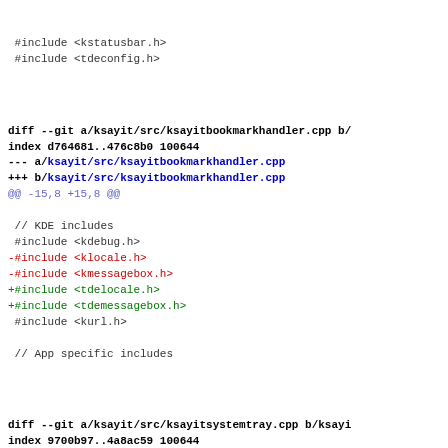#include <kstatusbar.h>
 #include <tdeconfig.h>
diff --git a/ksayit/src/ksayitbookmarkhandler.cpp b/
index d764681..476c8b0 100644
--- a/ksayit/src/ksayitbookmarkhandler.cpp
+++ b/ksayit/src/ksayitbookmarkhandler.cpp
@@ -15,8 +15,8 @@

 // KDE includes
 #include <kdebug.h>
-#include <klocale.h>
-#include <kmessagebox.h>
+#include <tdelocale.h>
+#include <tdemessagebox.h>
 #include <kurl.h>

 // App specific includes
diff --git a/ksayit/src/ksayitsystemtray.cpp b/ksayi
index 9700b97..4a8ac59 100644
--- a/ksayit/src/ksayitsystemtray.cpp
+++ b/ksayit/src/ksayitsystemtray.cpp
@@ -20,8 +20,8 @@
 #include <tqtranslator.h>

 // KDE includes
-#include <kglobal.h>
-#include <klocale.h>
+#include <tdeglobal.h>
+#include <tdelocale.h>